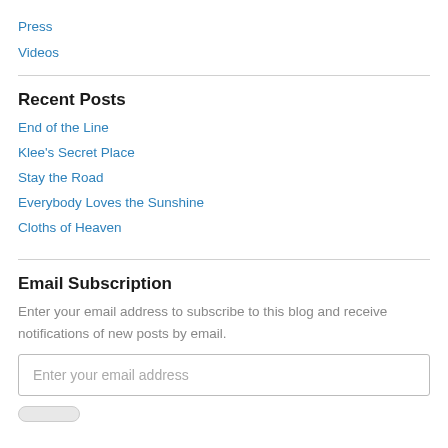Press
Videos
Recent Posts
End of the Line
Klee's Secret Place
Stay the Road
Everybody Loves the Sunshine
Cloths of Heaven
Email Subscription
Enter your email address to subscribe to this blog and receive notifications of new posts by email.
Enter your email address